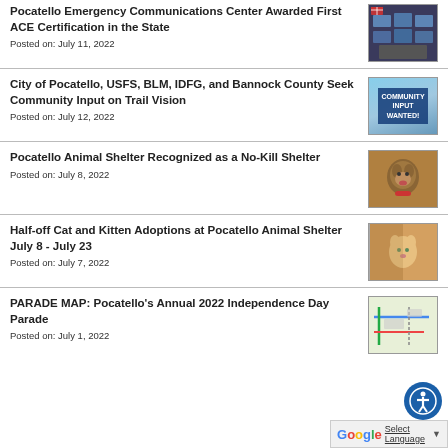Pocatello Emergency Communications Center Awarded First ACE Certification in the State
Posted on: July 11, 2022
[Figure (photo): Dispatch center with multiple monitors and American flag]
City of Pocatello, USFS, BLM, IDFG, and Bannock County Seek Community Input on Trail Vision
Posted on: July 12, 2022
[Figure (photo): Community Input Wanted sign with outdoor scene]
Pocatello Animal Shelter Recognized as a No-Kill Shelter
Posted on: July 8, 2022
[Figure (photo): Dog sitting with red bow tie at animal shelter]
Half-off Cat and Kitten Adoptions at Pocatello Animal Shelter July 8 - July 23
Posted on: July 7, 2022
[Figure (photo): Orange and white cat looking through glass at shelter]
PARADE MAP: Pocatello's Annual 2022 Independence Day Parade
Posted on: July 1, 2022
[Figure (map): Map showing parade route for 2022 Independence Day Parade]